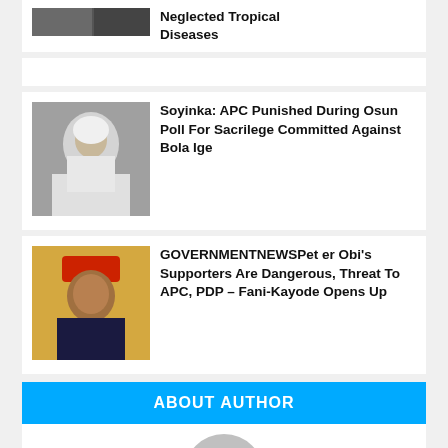[Figure (photo): Partial top article card with image of people and headline about Neglected Tropical Diseases]
Neglected Tropical Diseases
[Figure (photo): Photo of an elderly man with white beard and hair, Wole Soyinka]
Soyinka: APC Punished During Osun Poll For Sacrilege Committed Against Bola Ige
[Figure (photo): Photo of a man wearing a red fez cap, Femi Fani-Kayode]
GOVERNMENTNEWSPeter Obi's Supporters Are Dangerous, Threat To APC, PDP – Fani-Kayode Opens Up
ABOUT AUTHOR
[Figure (photo): Author avatar placeholder circle]